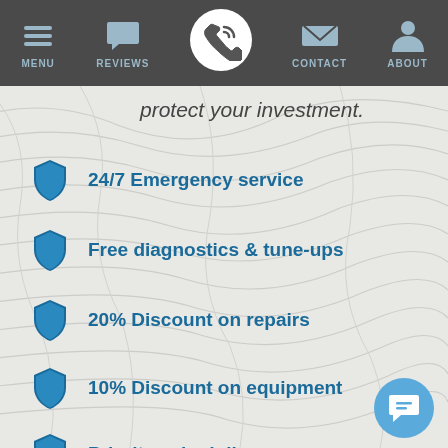MENU | REVIEWS | [CALL] | CONTACT | ABOUT
protect your investment.
24/7 Emergency service
Free diagnostics & tune-ups
20% Discount on repairs
10% Discount on equipment
Priority scheduling